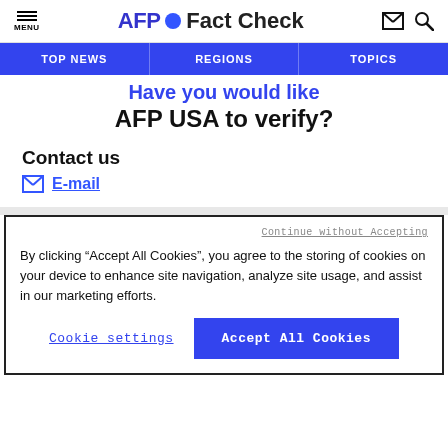MENU | AFP Fact Check
TOP NEWS | REGIONS | TOPICS
AFP USA to verify?
Contact us
E-mail
Continue without Accepting
By clicking “Accept All Cookies”, you agree to the storing of cookies on your device to enhance site navigation, analyze site usage, and assist in our marketing efforts.
Cookie settings
Accept All Cookies